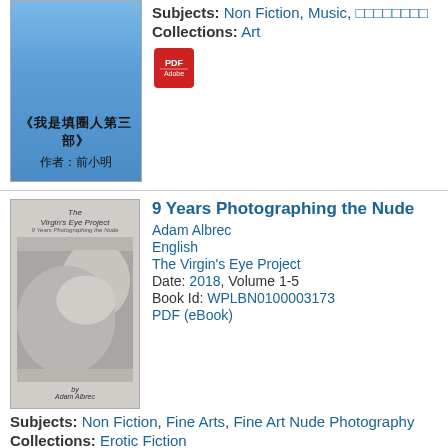[Figure (illustration): Book cover with blue striped shirt, Chinese text: 《我是填圈人第三部》作者：前小明]
Collections: Art
[Figure (illustration): PDF icon]
[Figure (illustration): Book cover: The Virgin's Eye Project by Adam Albrec, black and white photo]
9 Years Photographing the Nude
Adam Albrec
English
The Virgin's Eye Project
Date: 2018, Volume 1-5
Book Id: WPLBN0100003173
PDF (eBook)
Subjects: Non Fiction, Fine Arts, Fine Art Nude Photography
Collections: Erotic Fiction
[Figure (illustration): PDF icon]
[Figure (illustration): Book cover placeholder, light tan/beige color]
□□□□□□□□ : □□□□□□□□: □□□□□□□□
xiaoming xiaoming yu
Chinese